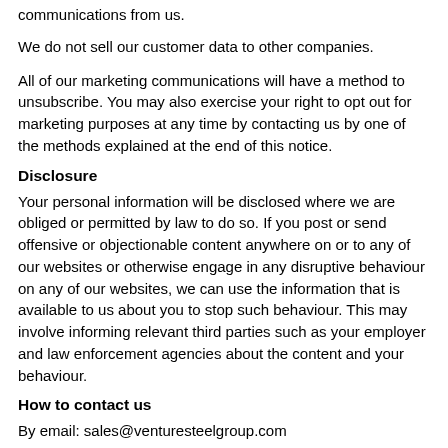communications from us.
We do not sell our customer data to other companies.
All of our marketing communications will have a method to unsubscribe. You may also exercise your right to opt out for marketing purposes at any time by contacting us by one of the methods explained at the end of this notice.
Disclosure
Your personal information will be disclosed where we are obliged or permitted by law to do so. If you post or send offensive or objectionable content anywhere on or to any of our websites or otherwise engage in any disruptive behaviour on any of our websites, we can use the information that is available to us about you to stop such behaviour. This may involve informing relevant third parties such as your employer and law enforcement agencies about the content and your behaviour.
How to contact us
By email: sales@venturesteelgroup.com